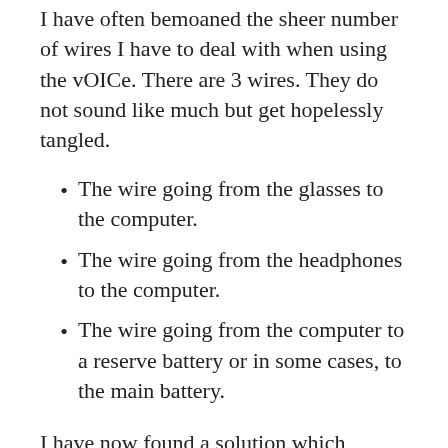I have often bemoaned the sheer number of wires I have to deal with when using the vOICe. There are 3 wires. They do not sound like much but get hopelessly tangled.
The wire going from the glasses to the computer.
The wire going from the headphones to the computer.
The wire going from the computer to a reserve battery or in some cases, to the main battery.
I have now found a solution which eliminates most of the wires. The